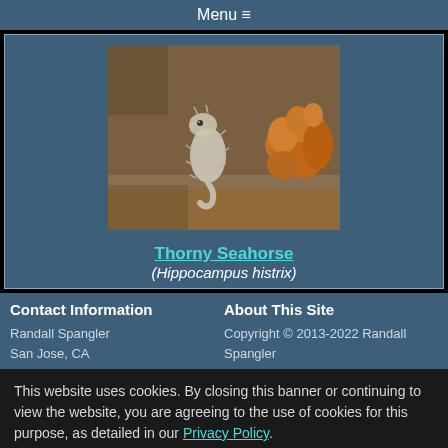Menu ≡
[Figure (photo): A thorny seahorse (Hippocampus histrix) on sandy seafloor near orange coral or sponge. The seahorse is pale/whitish with spiny protrusions.]
Thorny Seahorse (Hippocampus histrix)
Contact Information
Randall Spangler
San Jose, CA
About This Site
Copyright © 2013-2022 Randall Spangler
This website uses cookies. By closing this banner or continuing to view the website, you are agreeing to the use of cookies for this purpose, as detailed in our Privacy Policy.
Accept Cookies